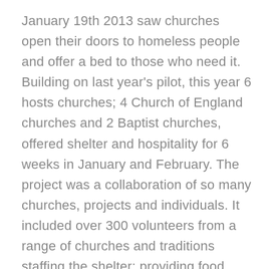January 19th 2013 saw churches open their doors to homeless people and offer a bed to those who need it. Building on last year's pilot, this year 6 hosts churches; 4 Church of England churches and 2 Baptist churches, offered shelter and hospitality for 6 weeks in January and February. The project was a collaboration of so many churches, projects and individuals. It included over 300 volunteers from a range of churches and traditions staffing the shelter; providing food, sleeping overnight and generally making guests feel at home. Guests were referred to the shelter by SIFA Fireside and also by outreach teams from Reach Out Network and Grace Bible Fellowship, who, as well as referring rough sleepers into the shelter, also met them at the pickup point and chaperoned them to the venues helping them to settle in. Transport was provided by church projects and Shencare Community Transport along